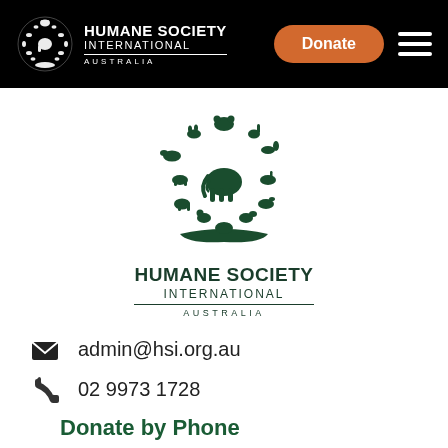HUMANE SOCIETY INTERNATIONAL AUSTRALIA — Header with Donate button and navigation menu
[Figure (logo): Humane Society International Australia logo: globe made of animal silhouettes in dark green, with organization name]
admin@hsi.org.au
02 9973 1728
Donate by Phone